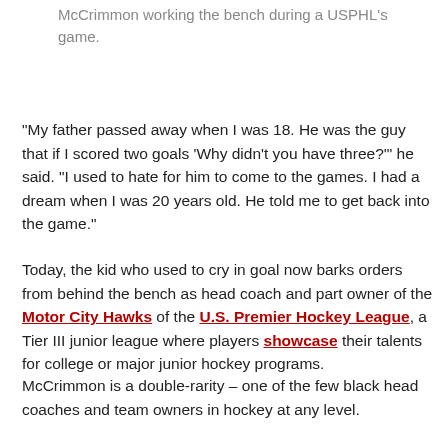McCrimmon working the bench during a USPHL's game.
“My father passed away when I was 18. He was the guy that if I scored two goals ‘Why didn’t you have three?’” he said. “I used to hate for him to come to the games. I had a dream when I was 20 years old. He told me to get back into the game.”
Today, the kid who used to cry in goal now barks orders from behind the bench as head coach and part owner of the Motor City Hawks of the U.S. Premier Hockey League, a Tier III junior league where players showcase their talents for college or major junior hockey programs.
McCrimmon is a double-rarity – one of the few black head coaches and team owners in hockey at any level.